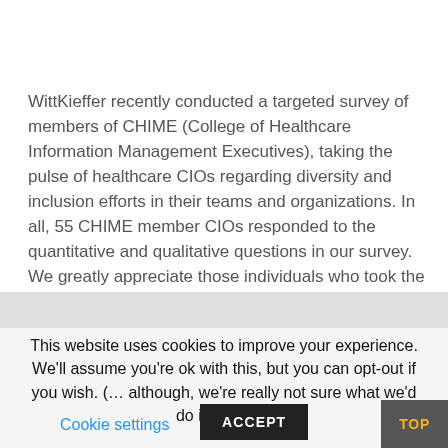[Figure (logo): LinkedIn and Twitter social media icons in blue squares]
WittKieffer recently conducted a targeted survey of members of CHIME (College of Healthcare Information Management Executives), taking the pulse of healthcare CIOs regarding diversity and inclusion efforts in their teams and organizations. In all, 55 CHIME member CIOs responded to the quantitative and qualitative questions in our survey. We greatly appreciate those individuals who took the time to participate.
This website uses cookies to improve your experience. We'll assume you're ok with this, but you can opt-out if you wish. (… although, we're really not sure what we'd do if you did!)
Cookie settings
ACCEPT
TOP